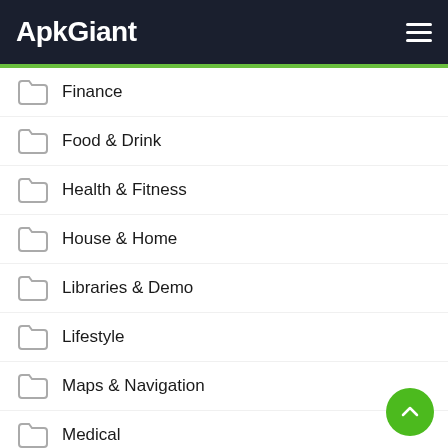ApkGiant
Finance
Food & Drink
Health & Fitness
House & Home
Libraries & Demo
Lifestyle
Maps & Navigation
Medical
Music
Music & Audio